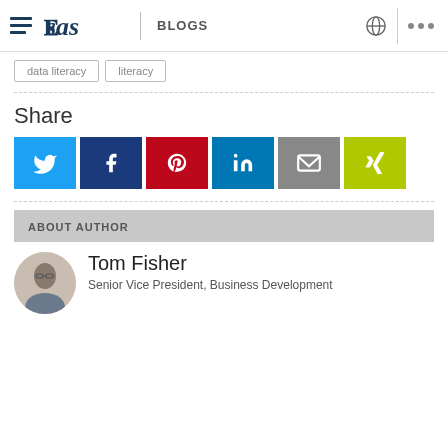SAS BLOGS
data literacy
literacy
Share
[Figure (infographic): Social share buttons: Twitter (light blue), Facebook (dark blue), Pinterest (red), LinkedIn (teal blue), Email (gray), Xing (yellow-green)]
ABOUT AUTHOR
Tom Fisher
Senior Vice President, Business Development